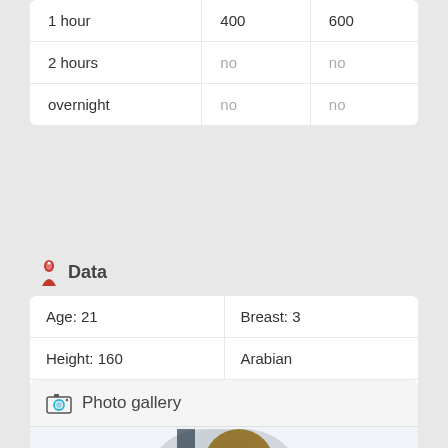|  |  |  |
| --- | --- | --- |
| 1 hour | 400 | 600 |
| 2 hours | no | no |
| overnight | no | no |
Data
| Age: 21 | Breast: 3 |
| Height: 160 | Arabian |
| Weight: 50 | - |
Photo gallery
[Figure (photo): Photo gallery area showing partial view of a person with brown hair]